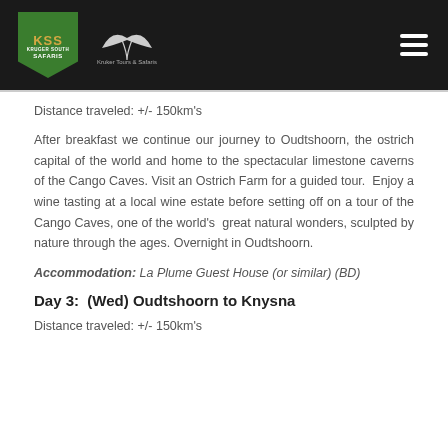Kruger South Safaris logo and navigation header
Distance traveled:  +/- 150km's
After breakfast we continue our journey to Oudtshoorn, the ostrich capital of the world and home to the spectacular limestone caverns of the Cango Caves. Visit an Ostrich Farm for a guided tour.  Enjoy a wine tasting at a local wine estate before setting off on a tour of the Cango Caves, one of the world's  great natural wonders, sculpted by nature through the ages. Overnight in Oudtshoorn.
Accommodation: La Plume Guest House (or similar) (BD)
Day 3:  (Wed) Oudtshoorn to Knysna
Distance traveled:  +/- 150km's